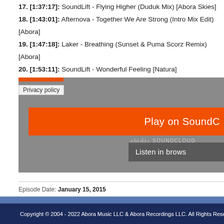17. [1:37:17]: SoundLift - Flying Higher (Duduk Mix) [Abora Skies]
18. [1:43:01]: Afternova - Together We Are Strong (Intro Mix Edit) [Abora]
19. [1:47:18]: Laker - Breathing (Sunset & Puma Scorz Remix) [Abora]
20. [1:53:11]: SoundLift - Wonderful Feeling [Natura]
[Figure (screenshot): SoundCloud embedded player widget showing orange Play on SoundCloud button, waveform, Listen in browser button, and Privacy policy button, on a grey background]
Episode Date: January 15, 2015
Copyright © 2004 - 2022 Abora Music LLC & Abora Recordings LLC. All Rights Reserved.